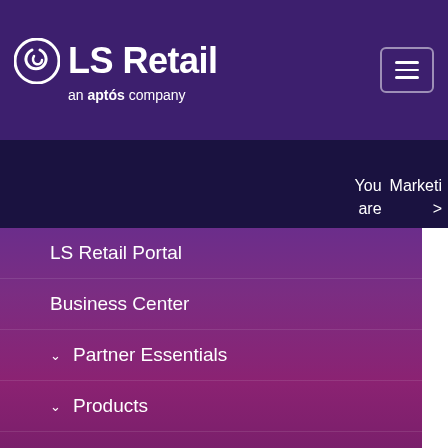LS Retail an aptos company
You are
Marketing >
LS Retail Portal
Business Center
Partner Essentials
Products
Marketing
Branding
Webinars
Whitepapers
Da
Ma
27,
20:
12:
LS
Ce